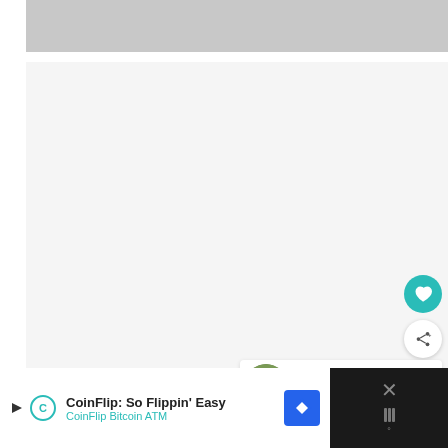[Figure (screenshot): Top grey/white bar - partial header of a web page]
[Figure (screenshot): Main content area - large light grey blank content region of a webpage]
[Figure (screenshot): Teal circular like/heart button]
[Figure (screenshot): White circular share button with share icon]
[Figure (screenshot): What's Next card with thumbnail image, label WHAT'S NEXT with arrow, and title Albany Adventures]
[Figure (screenshot): Advertisement bar at bottom: CoinFlip: So Flippin' Easy / CoinFlip Bitcoin ATM, with blue diamond logo and close button]